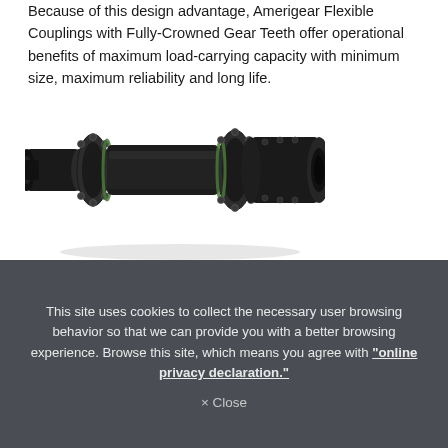Because of this design advantage, Amerigear Flexible Couplings with Fully-Crowned Gear Teeth offer operational benefits of maximum load-carrying capacity with minimum size, maximum reliability and long life.
[Figure (photo): Photo of an Amerigear flexible gear coupling — a black industrial shaft coupling with two flanged hubs, gear teeth visible at the mesh points, and a cylindrical spacer in the center]
This site uses cookies to collect the necessary user browsing behavior so that we can provide you with a better browsing experience. Browse this site, which means you agree with "online privacy declaration."
× Close